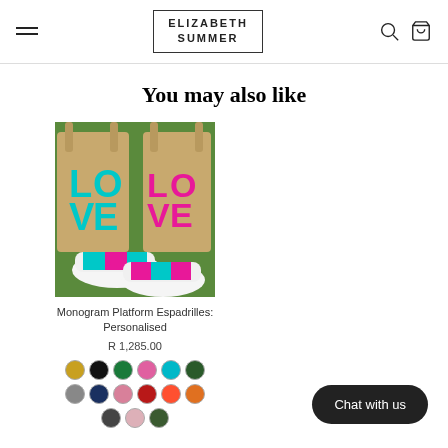ELIZABETH SUMMER
You may also like
[Figure (photo): Photo of monogram platform espadrilles shoes on grass with woven straw tote bags featuring LOVE text in pink and teal]
Monogram Platform Espadrilles: Personalised
R 1,285.00
Chat with us